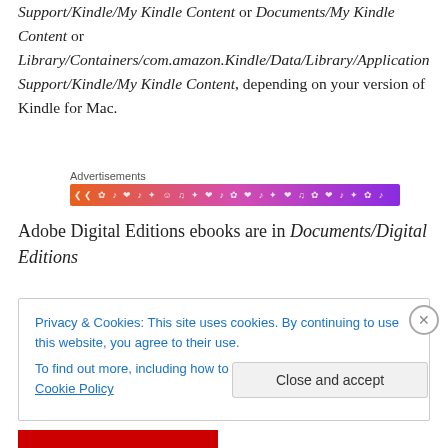Support/Kindle/My Kindle Content or Documents/My Kindle Content or Library/Containers/com.amazon.Kindle/Data/Library/Application Support/Kindle/My Kindle Content, depending on your version of Kindle for Mac.
[Figure (other): Advertisements banner with colorful gradient background (orange to purple) with small decorative icons]
Adobe Digital Editions ebooks are in Documents/Digital Editions
Privacy & Cookies: This site uses cookies. By continuing to use this website, you agree to their use.
To find out more, including how to control cookies, see here: Cookie Policy